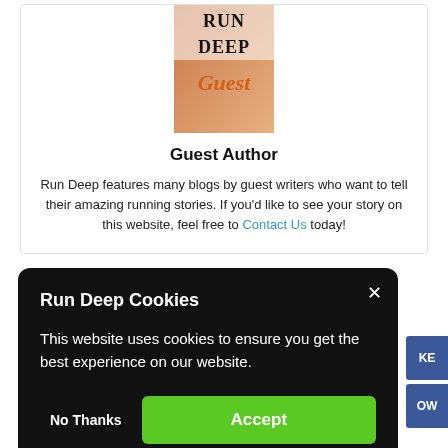[Figure (illustration): Book cover image showing 'RUN DEEP' text with 'Guest' written below in orange script on an orange/warm background]
Guest Author
Run Deep features many blogs by guest writers who want to tell their amazing running stories. If you'd like to see your story on this website, feel free to Contact Us today!
Run Deep Cookies
This website uses cookies to ensure you get the best experience on our website.
No Thanks
Accept